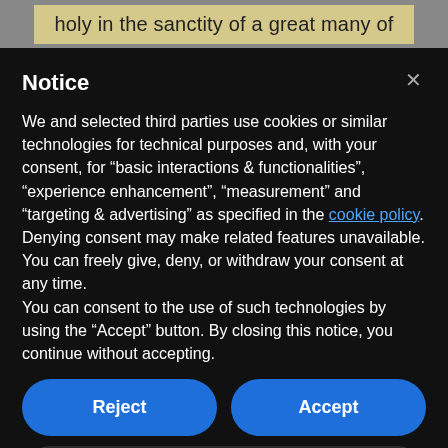holy in the sanctity of a great many of
Notice
We and selected third parties use cookies or similar technologies for technical purposes and, with your consent, for “basic interactions & functionalities”, “experience enhancement”, “measurement” and “targeting & advertising” as specified in the cookie policy. Denying consent may make related features unavailable.
You can freely give, deny, or withdraw your consent at any time.
You can consent to the use of such technologies by using the “Accept” button. By closing this notice, you continue without accepting.
Reject
Accept
Learn more and customize